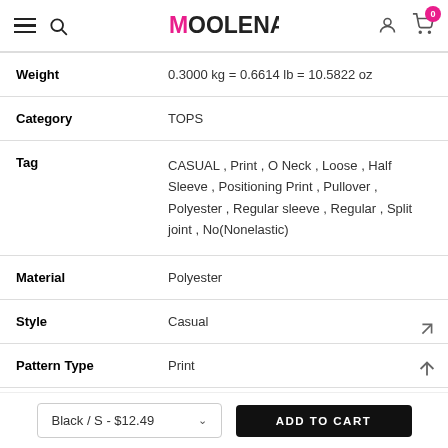Moolena - online shopping
| Weight | 0.3000 kg = 0.6614 lb = 10.5822 oz |
| Category | TOPS |
| Tag | CASUAL , Print , O Neck , Loose , Half Sleeve , Positioning Print , Pullover , Polyester , Regular sleeve , Regular , Split joint , No(Nonelastic) |
| Material | Polyester |
| Style | Casual |
| Pattern Type | Print |
Black / S - $12.49
ADD TO CART